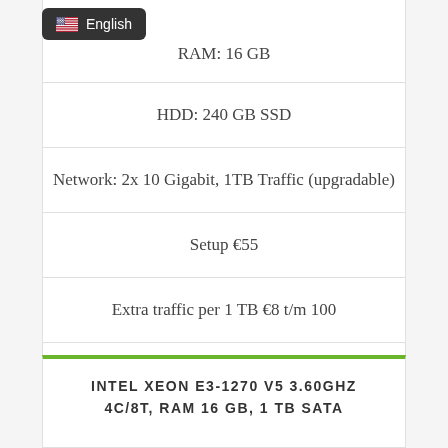[Figure (other): US flag icon inside a dark rounded badge labeled English]
RAM: 16 GB
HDD: 240 GB SSD
Network: 2x 10 Gigabit, 1TB Traffic (upgradable)
Setup €55
Extra traffic per 1 TB €8 t/m 100
ORDER NOW
INTEL XEON E3-1270 V5 3.60GHZ
4C/8T, RAM 16 GB, 1 TB SATA